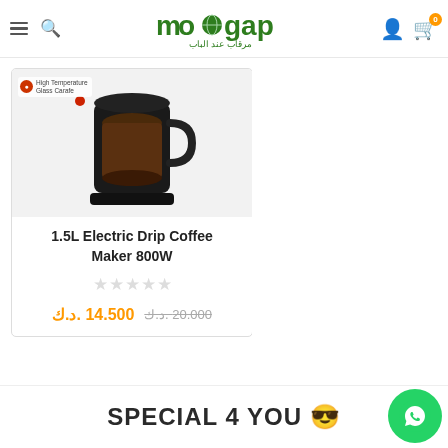morgap مرقاب عند الباب
[Figure (screenshot): Product card showing a 1.5L Electric Drip Coffee Maker 800W with coffee maker image, star rating, old price 20.000 د.ك and new price 14.500 د.ك]
1.5L Electric Drip Coffee Maker 800W
20.000 .د.ك  14.500 .د.ك
SPECIAL 4 YOU 😎
[Figure (logo): WhatsApp contact button (green circle with WhatsApp icon)]